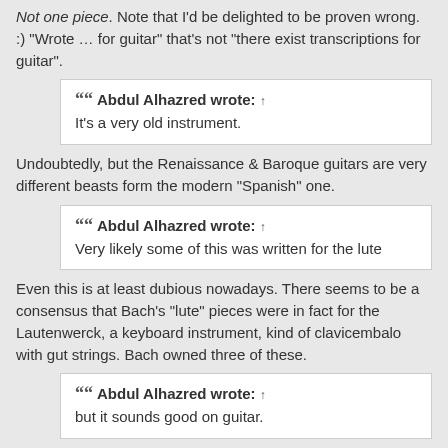Not one piece. Note that I'd be delighted to be proven wrong. :) "Wrote … for guitar" that's not "there exist transcriptions for guitar".
Abdul Alhazred wrote: ↑ It's a very old instrument.
Undoubtedly, but the Renaissance & Baroque guitars are very different beasts form the modern "Spanish" one.
Abdul Alhazred wrote: ↑ Very likely some of this was written for the lute
Even this is at least dubious nowadays. There seems to be a consensus that Bach's "lute" pieces were in fact for the Lautenwerck, a keyboard instrument, kind of clavicembalo with gut strings. Bach owned three of these.
Abdul Alhazred wrote: ↑ but it sounds good on guitar.